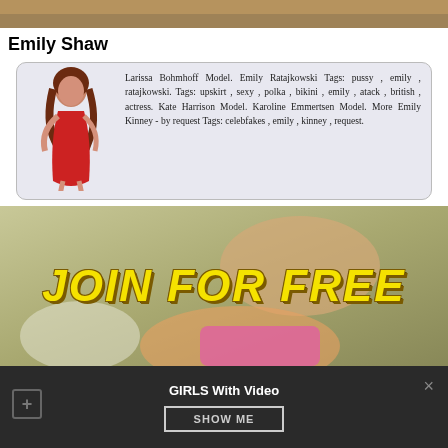[Figure (photo): Top banner image, cropped photo of person]
Emily Shaw
Larissa Bohmhoff Model. Emily Ratajkowski Tags: pussy , emily , ratajkowski. Tags: upskirt , sexy , polka , bikini , emily , atack , british , actress. Kate Harrison Model. Karoline Emmertsen Model. More Emily Kinney - by request Tags: celebfakes , emily , kinney , request.
[Figure (photo): Banner image with JOIN FOR FREE text overlay over photo]
[Figure (screenshot): Dark footer bar with GIRLS With Video text, SHOW ME button, plus icon and close icon]